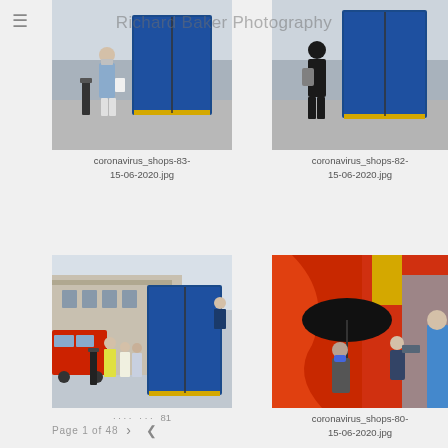Richard Baker Photography
[Figure (photo): Person walking past large blue storage container on a street, wearing mask, carrying white bag]
coronavirus_shops-83-15-06-2020.jpg
[Figure (photo): Person walking past large blue storage container on a street, viewed from behind]
coronavirus_shops-82-15-06-2020.jpg
[Figure (photo): Street scene with red double-decker bus, pedestrians wearing masks, and blue storage container on London street]
coronavirus_shops-81-15-06-2020.jpg
[Figure (photo): Person with black umbrella getting temperature checked, wearing blue face mask, with orange store facade in background]
coronavirus_shops-80-15-06-2020.jpg
Page 1 of 48